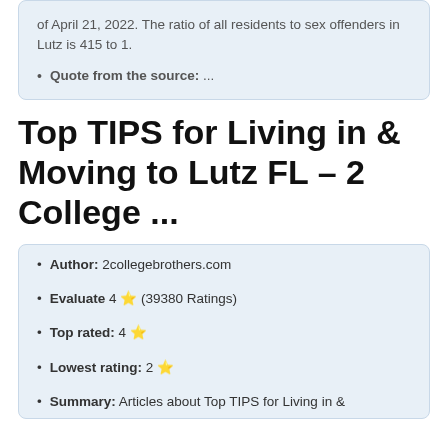of April 21, 2022. The ratio of all residents to sex offenders in Lutz is 415 to 1.
Quote from the source: ...
Top TIPS for Living in & Moving to Lutz FL – 2 College ...
Author: 2collegebrothers.com
Evaluate 4 ⭐ (39380 Ratings)
Top rated: 4 ⭐
Lowest rating: 2 ⭐
Summary: Articles about Top TIPS for Living in &